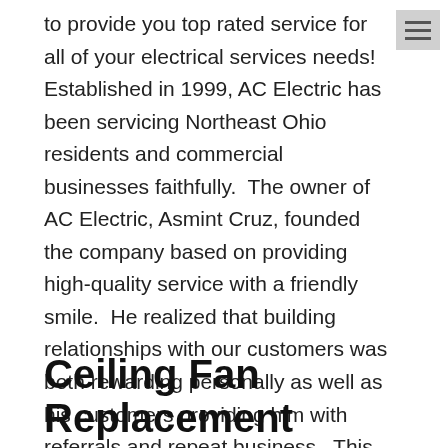to provide you top rated service for all of your electrical services needs!  Established in 1999, AC Electric has been servicing Northeast Ohio residents and commercial businesses faithfully.  The owner of AC Electric, Asmint Cruz, founded the company based on providing high-quality service with a friendly smile.  He realized that building relationships with our customers was both rewarding personally as well as his customers providing him with referrals and repeat business.  This is why AC Electric has an A+ Rated BBB rating and over 170+ Google reviews with an average of 4.8 stars!
Ceiling Fan Replacement